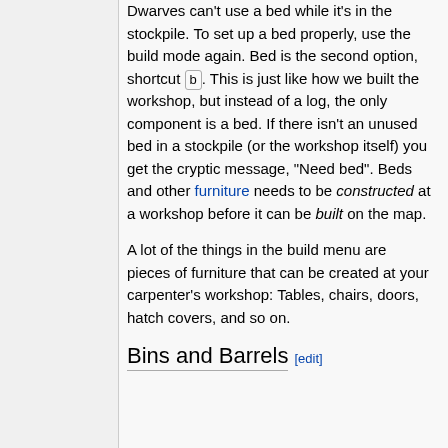Dwarves can't use a bed while it's in the stockpile. To set up a bed properly, use the build mode again. Bed is the second option, shortcut [b]. This is just like how we built the workshop, but instead of a log, the only component is a bed. If there isn't an unused bed in a stockpile (or the workshop itself) you get the cryptic message, "Need bed". Beds and other furniture needs to be constructed at a workshop before it can be built on the map.
A lot of the things in the build menu are pieces of furniture that can be created at your carpenter's workshop: Tables, chairs, doors, hatch covers, and so on.
Bins and Barrels [edit]